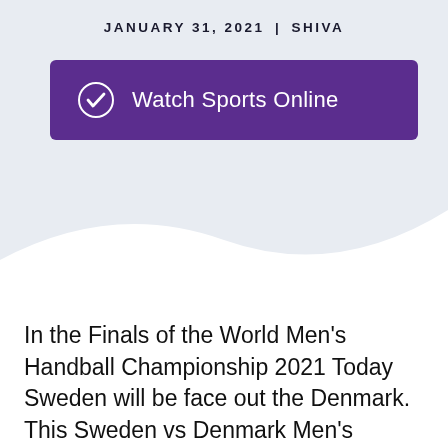JANUARY 31, 2021 | SHIVA
[Figure (other): Purple banner button with checkmark icon and text 'Watch Sports Online']
In the Finals of the World Men's Handball Championship 2021 Today Sweden will be face out the Denmark. This Sweden vs Denmark Men's Handball match